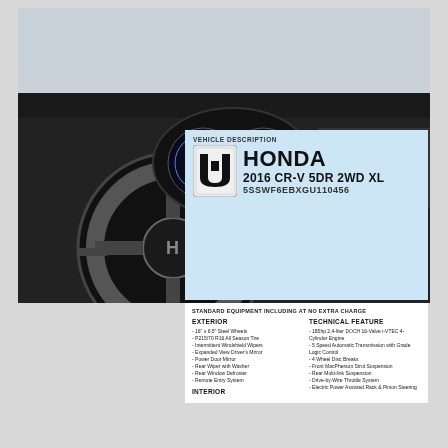[Figure (photo): Honda CR-V interior dashboard view showing steering wheel, instrument cluster, and center console]
HONDA
2016 CR-V 5DR 2WD XL
VEHICLE DESCRIPTION
HONDA
2016 CR-V 5DR 2WD XL
5SSWF6EBXGU110456
STANDARD EQUIPMENT INCLUDING AT NO EXTRA CHARGE
EXTERIOR
- 16" x 6.5" Steel Wheels
- P215/70 R16 All Season Tire
- Intermittent Windshield Wipers
- Expanded View Driver's Mirror
- Power Door Mirror
- Rear Wiper with Washer
- Rear Window Defroster
- Remote Entry System
INTERIOR
TECHNICAL FEATURE
- 185hp 2.4-liter DOCH 16-Valve i-VTEC 4-Cylinder Engine
- 5 Speed Automatic Transmission with Grade Logic Control
- 4 Wheel Disc Breaks
- Front MacPherson Strut Suspension
- Rear Multi-link Suspension
- Drive-by-Wire Throttle System
- Electric Power Assisted Rack & Pinion Steering